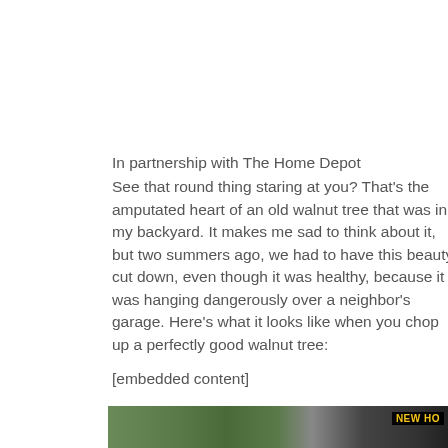In partnership with The Home Depot
See that round thing staring at you? That's the amputated heart of an old walnut tree that was in my backyard. It makes me sad to think about it, but two summers ago, we had to have this beauty cut down, even though it was healthy, because it was hanging dangerously over a neighbor's garage. Here's what it looks like when you chop up a perfectly good walnut tree:
[embedded content]
[Figure (photo): Partial photo showing trees and a piece of heavy construction equipment with 'NEW HO' visible on a yellow label, at the bottom of the page.]